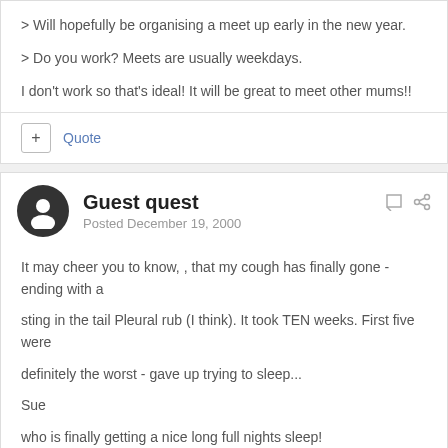> Will hopefully be organising a meet up early in the new year.
> Do you work? Meets are usually weekdays.
I don't work so that's ideal! It will be great to meet other mums!!
Guest quest
Posted December 19, 2000
It may cheer you to know, , that my cough has finally gone - ending with a
sting in the tail Pleural rub (I think). It took TEN weeks. First five were
definitely the worst - gave up trying to sleep...
Sue
who is finally getting a nice long full nights sleep!
The s wrote: